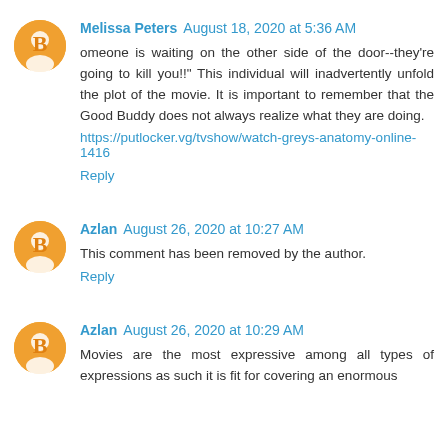Melissa Peters August 18, 2020 at 5:36 AM
omeone is waiting on the other side of the door--they're going to kill you!!" This individual will inadvertently unfold the plot of the movie. It is important to remember that the Good Buddy does not always realize what they are doing. https://putlocker.vg/tvshow/watch-greys-anatomy-online-1416
Reply
Azlan August 26, 2020 at 10:27 AM
This comment has been removed by the author.
Reply
Azlan August 26, 2020 at 10:29 AM
Movies are the most expressive among all types of expressions as such it is fit for covering an enormous